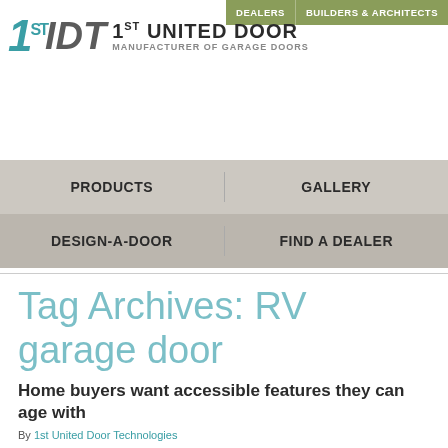DEALERS | BUILDERS & ARCHITECTS
[Figure (logo): 1st United Door Technologies logo — stylized '1DT' with teal 1 and gray DT, followed by text '1ST UNITED DOOR' and 'MANUFACTURER OF GARAGE DOORS']
PRODUCTS | GALLERY
DESIGN-A-DOOR | FIND A DEALER
Tag Archives: RV garage door
Home buyers want accessible features they can age with
By 1st United Door Technologies
According to U.S. Census data, the number of Americans 65 and older is expected to rise 35 percent from 2010 to 2020. This plays a big role in the growing demand for accessible home design and